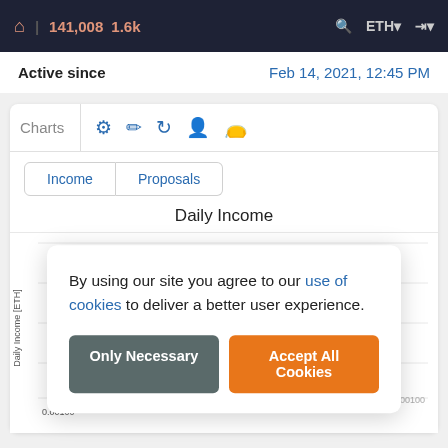141,008  1.6k  ETH
| Active since |  |
| --- | --- |
| Active since | Feb 14, 2021, 12:45 PM |
Charts  [icons: tokens, edit, refresh, no-user, wallet]
Income  Proposals
Daily Income
[Figure (other): Daily Income chart area (partially visible, obscured by cookie consent dialog). Y-axis label: Daily Income [ETH]. X-axis value: 0.00100]
By using our site you agree to our use of cookies to deliver a better user experience.
Only Necessary  |  Accept All Cookies